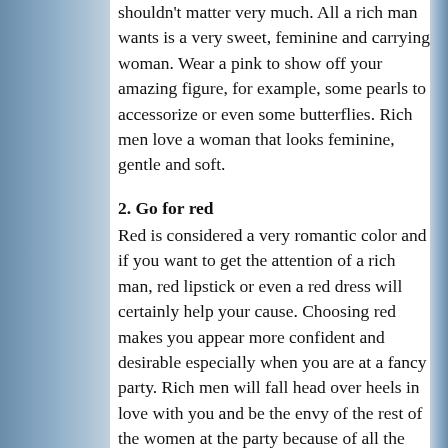shouldn't matter very much. All a rich man wants is a very sweet, feminine and carrying woman. Wear a pink to show off your amazing figure, for example, some pearls to accessorize or even some butterflies. Rich men love a woman that looks feminine, gentle and soft.
2. Go for red
Red is considered a very romantic color and if you want to get the attention of a rich man, red lipstick or even a red dress will certainly help your cause. Choosing red makes you appear more confident and desirable especially when you are at a fancy party. Rich men will fall head over heels in love with you and be the envy of the rest of the women at the party because of all the attention you will get from the men.
3. Wear a good perfume
A woman that wants to get the attention of a rich man